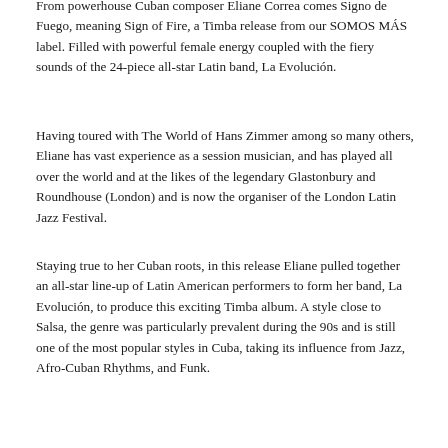From powerhouse Cuban composer Eliane Correa comes Signo de Fuego, meaning Sign of Fire, a Timba release from our SOMOS MÁS label. Filled with powerful female energy coupled with the fiery sounds of the 24-piece all-star Latin band, La Evolución.
Having toured with The World of Hans Zimmer among so many others, Eliane has vast experience as a session musician, and has played all over the world and at the likes of the legendary Glastonbury and Roundhouse (London) and is now the organiser of the London Latin Jazz Festival.
Staying true to her Cuban roots, in this release Eliane pulled together an all-star line-up of Latin American performers to form her band, La Evolución, to produce this exciting Timba album. A style close to Salsa, the genre was particularly prevalent during the 90s and is still one of the most popular styles in Cuba, taking its influence from Jazz, Afro-Cuban Rhythms, and Funk.